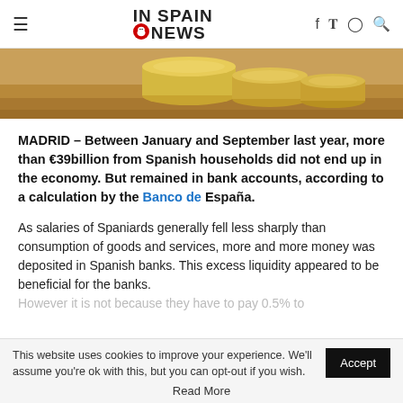IN SPAIN NEWS
[Figure (photo): Close-up photo of stacked gold coins on a wooden surface]
MADRID – Between January and September last year, more than €39billion from Spanish households did not end up in the economy. But remained in bank accounts, according to a calculation by the Banco de España.
As salaries of Spaniards generally fell less sharply than consumption of goods and services, more and more money was deposited in Spanish banks. This excess liquidity appeared to be beneficial for the banks. However it is not because they have to pay 0.5% to
This website uses cookies to improve your experience. We'll assume you're ok with this, but you can opt-out if you wish.
Read More